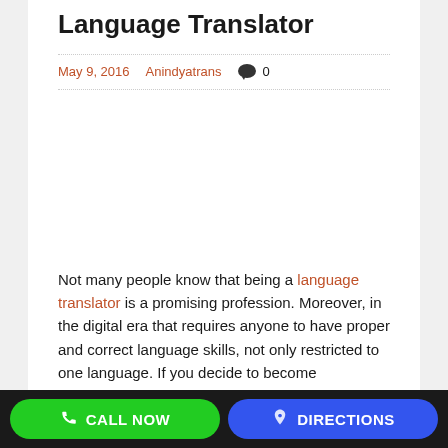Language Translator
May 9, 2016   Anindyatrans   💬 0
Not many people know that being a language translator is a promising profession. Moreover, in the digital era that requires anyone to have proper and correct language skills, not only restricted to one language. If you decide to become
CALL NOW   DIRECTIONS